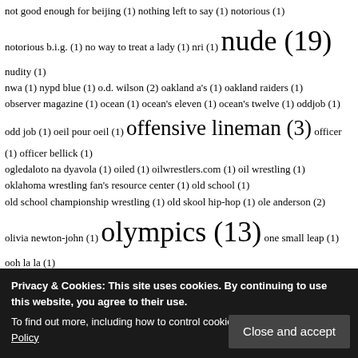not good enough for beijing (1) nothing left to say (1) notorious (1)
notorious b.i.g. (1) no way to treat a lady (1) nri (1) nude (19) nudity (1)
nwa (1) nypd blue (1) o.d. wilson (2) oakland a's (1) oakland raiders (1)
observer magazine (1) ocean (1) ocean's eleven (1) ocean's twelve (1) oddjob (1)
odd job (1) oeil pour oeil (1) offensive lineman (3) officer (1) officer bellick (1)
ogledaloto na dyavola (1) oiled (1) oilwrestlers.com (1) oil wrestling (1)
oklahoma wrestling fan's resource center (1) old school (1)
old school championship wrestling (1) old skool hip-hop (1) ole anderson (2)
olivia newton-john (1) olympics (13) one small leap (1) ooh la la (1)
opinion (1) opm (1) orbit gum (1) oreo (1) originally yours (1) orlando pace (2)
orsiitaliani (1) osaka (1) oscar brayson (1) osehim (1) oss 117 (2) othello (1)
outlaw ron bass (1) out of sight (1) out of this world (1) overhang (1)
over the top (4) ox baker (1) oz strongman nationals (1) p.s. i love you (1)
pablo sandoval (1) pakistan (1) pakistani (1) pale blue dot (1) palindromes (1)
pall logason (4) panasonic (1) panda (1) pantera (1) panzers (1)
paolo bianchesi (1) papa roach (1) paperboy (1) paper lion (1)
philadelphia phillies (1) phil nickerson (1) philippines (3)